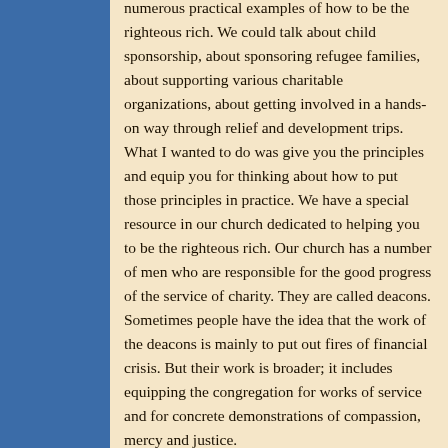numerous practical examples of how to be the righteous rich.  We could talk about child sponsorship, about sponsoring refugee families, about supporting various charitable organizations, about getting involved in a hands-on way through relief and development trips.  What I wanted to do was give you the principles and equip you for thinking about how to put those principles in practice.  We have a special resource in our church dedicated to helping you to be the righteous rich.  Our church has a number of men who are responsible for the good progress of the service of charity.  They are called deacons.  Sometimes people have the idea that the work of the deacons is mainly to put out fires of financial crisis.  But their work is broader; it includes equipping the congregation for works of service and for concrete demonstrations of compassion, mercy and justice.